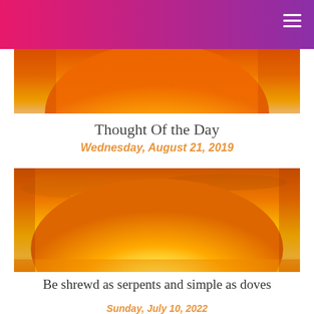[Figure (photo): Sunrise or sunset image with bright white-yellow sun glowing in an orange sky, cropped at top]
Thought Of the Day
Wednesday, August 21, 2019
[Figure (photo): Sunset/sunrise photo with large bright white-yellow sun glowing in an orange and golden sky with wispy clouds]
Be shrewd as serpents and simple as doves
Sunday, July 10, 2022